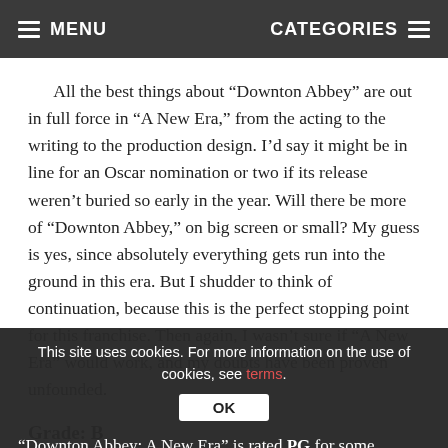MENU   CATEGORIES
All the best things about “Downton Abbey” are out in full force in “A New Era,” from the acting to the writing to the production design. I’d say it might be in line for an Oscar nomination or two if its release weren’t buried so early in the year. Will there be more of “Downton Abbey,” on big screen or small? My guess is yes, since absolutely everything gets run into the ground in this era. But I shudder to think of continuation, because this is the perfect stopping point for this franchise. Then again, I wasn’t sure if “A New Era” would work, and my doubts have been proven unfounded.
Grade: B
This site uses cookies. For more information on the use of cookies, see terms.
“Downton Abbey: A New Era” is rated PG for some suggestive references, language and thematic elements. Its running time